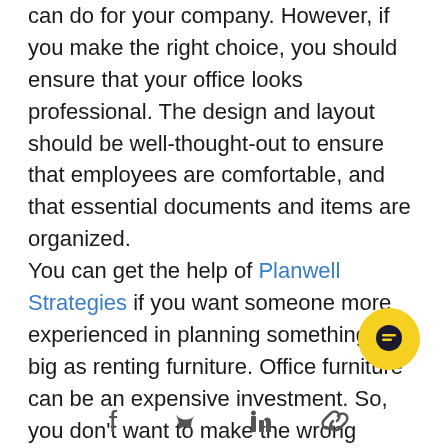can do for your company. However, if you make the right choice, you should ensure that your office looks professional. The design and layout should be well-thought-out to ensure that employees are comfortable, and that essential documents and items are organized. You can get the help of Planwell Strategies if you want someone more experienced in planning something as big as renting furniture. Office furniture can be an expensive investment. So, you don't want to make the wrong move. However, following the preceding steps should help you get through this primary task with minimal issues.
[Figure (other): Yellow circular chat bubble button icon in bottom right area]
[Figure (other): Social media icons row at bottom: Facebook, Twitter, LinkedIn, and another icon]